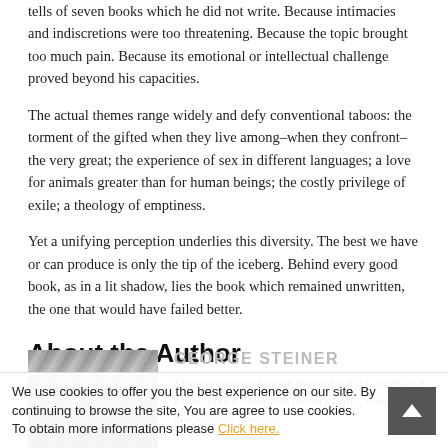tells of seven books which he did not write. Because intimacies and indiscretions were too threatening. Because the topic brought too much pain. Because its emotional or intellectual challenge proved beyond his capacities.
The actual themes range widely and defy conventional taboos: the torment of the gifted when they live among–when they confront–the very great; the experience of sex in different languages; a love for animals greater than for human beings; the costly privilege of exile; a theology of emptiness.
Yet a unifying perception underlies this diversity. The best we have or can produce is only the tip of the iceberg. Behind every good book, as in a lit shadow, lies the book which remained unwritten, the one that would have failed better.
About the Author
[Figure (photo): Black and white photo of George Steiner]
GEORGE STEINER
Francis George Steiner, (born April 23, 1929) is a French-born American literary critic, essayist, philosopher, novelist,
We use cookies to offer you the best experience on our site. By continuing to browse the site, You are agree to use cookies. To obtain more informations please Click here.